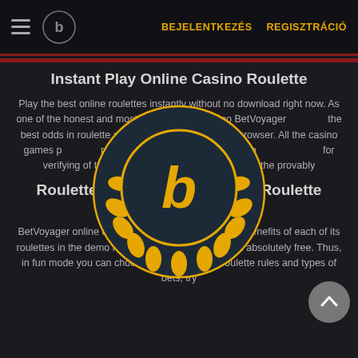BEJELENTKEZÉS  REGISZTRÁCIÓ
Instant Play Online Casino Roulette
Play the best online roulettes instantly without no download right now. As one of the honest and most trusted online casino BetVoyager offers the best odds in roulette and fair online casino games in your browser. All the casino games presented here have equal odds versions and a provably fair system for verifying of the randomness of the gambling results similar to the provably
[Figure (logo): BetVoyager casino logo — circular dark badge with gold laurel wreath and letter B in center]
Roulette Demo Mode And Free Roulette games
BetVoyager online casino allows you to evaluate the benefits of each of its roulettes in the demo mode without registration and absolutely free. Thus, in fun mode you can choose a roulette, learn roulette rules and types of bets, try